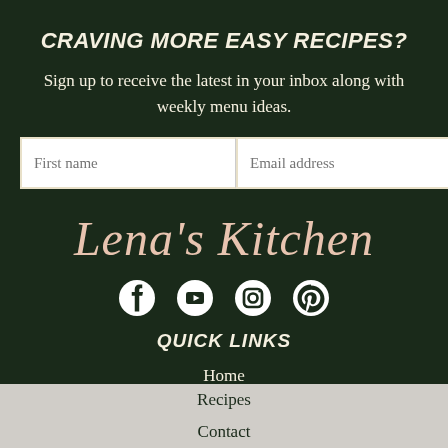CRAVING MORE EASY RECIPES?
Sign up to receive the latest in your inbox along with weekly menu ideas.
[Figure (other): Email signup form with First name and Email address text fields and a SUBSCRIBE button]
[Figure (logo): Lena's Kitchen logo in pink italic serif font on dark green background]
[Figure (other): Social media icons: Facebook, YouTube, Instagram, Pinterest]
QUICK LINKS
Home
Recipes
Contact